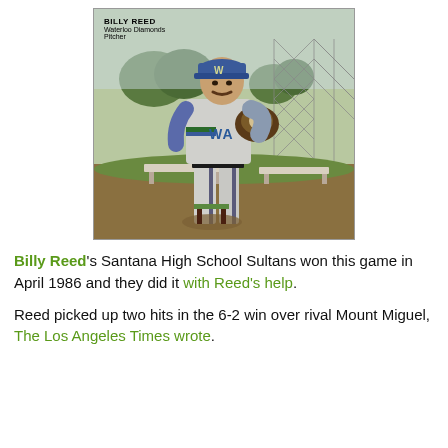[Figure (photo): A baseball card photo of Billy Reed, a pitcher for the Waterloo Diamonds. He is wearing a light gray baseball uniform with 'WAT' visible, a blue cap with a 'W' logo, and holding a baseball glove. He is posed at a baseball field with a chain-link fence in the background. Text on the card reads: BILLY REED, Waterloo Diamonds, Pitcher.]
Billy Reed's Santana High School Sultans won this game in April 1986 and they did it with Reed's help.
Reed picked up two hits in the 6-2 win over rival Mount Miguel, The Los Angeles Times wrote.